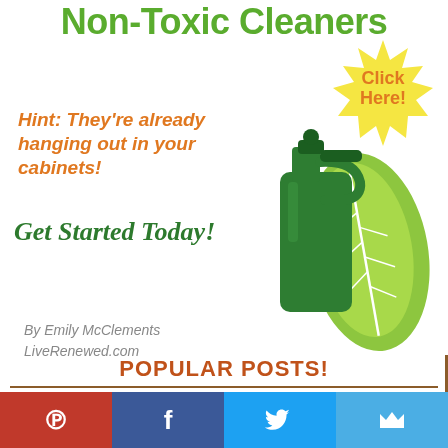Non-Toxic Cleaners
Hint: They're already hanging out in your cabinets!
Get Started Today!
[Figure (illustration): Green spray bottle with a large green leaf behind it, and a yellow starburst badge with orange text reading 'Click Here!']
By Emily McClements
LiveRenewed.com
POPULAR POSTS!
[Figure (infographic): Social media share bar with Pinterest (red), Facebook (dark blue), Twitter (light blue), and Bloglovin (blue) buttons]